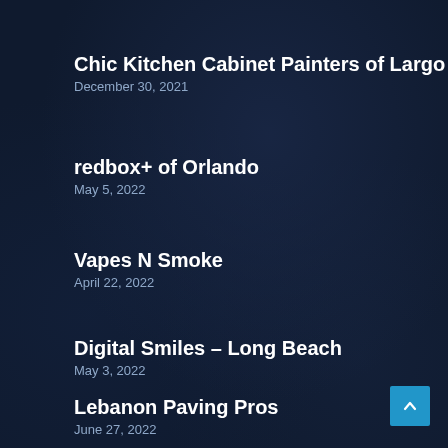Chic Kitchen Cabinet Painters of Largo
December 30, 2021
redbox+ of Orlando
May 5, 2022
Vapes N Smoke
April 22, 2022
Digital Smiles – Long Beach
May 3, 2022
Lebanon Paving Pros
June 27, 2022